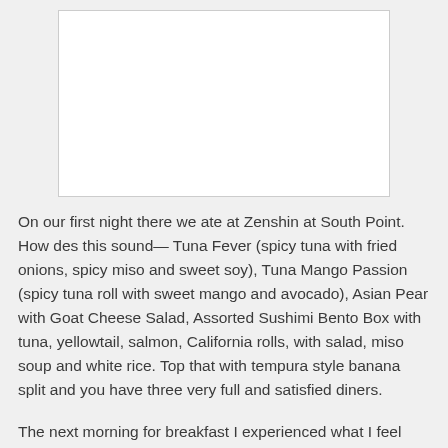[Figure (photo): A photograph placeholder (white rectangle with border) at the top of the page]
On our first night there we ate at Zenshin at South Point. How des this sound— Tuna Fever (spicy tuna with fried onions, spicy miso and sweet soy), Tuna Mango Passion (spicy tuna roll with sweet mango and avocado), Asian Pear with Goat Cheese Salad, Assorted Sushimi Bento Box with tuna, yellowtail, salmon, California rolls, with salad, miso soup and white rice. Top that with tempura style banana split and you have three very full and satisfied diners.
The next morning for breakfast I experienced what I feel was the ultimate flavor sensation. It is called “bacon jam” and I could eat that stuff with a spoon. At a neighborhood restaurant called Truffles